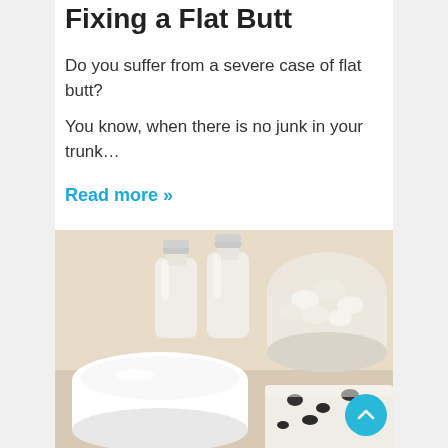Fixing a Flat Butt
Do you suffer from a severe case of flat butt?
You know, when there is no junk in your trunk…
Read more »
Colin Stewart   December 23, 2015
[Figure (photo): Photo of dairy products including two small milk bottles with silver foil caps, a bowl of sour cream, a glass bowl of cottage cheese, and a block of black and white cheese on a light background.]